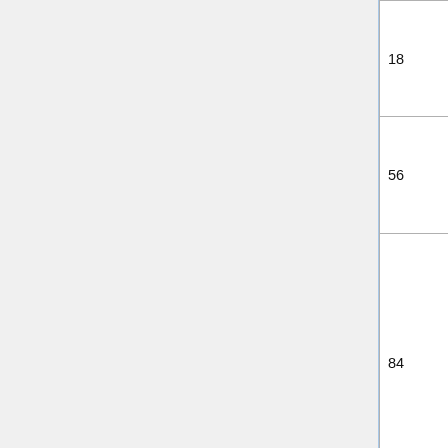| Page | Title |
| --- | --- |
| 18 | The Maxims of the Law. |
| 56 | The Use of the Law. |
| 84 | A Preparation toward the Union of the Laws of England and Scotland. |
| 94 | The Office of Constables, Original and Use of Courts-Leet, Sheriffs Turn, &c. |
| 101 | The Arguments in Law of Sir Francis Bacon Knt. the King's Sollicitor General, in certain great and difficult Cases. |
| 102 | Case of Impeachment of Waste, argued before all the Judges in the Exchequer-Chamber. |
| 114 | The Argument in Lowe's Cafe of Tenures, in the King's |